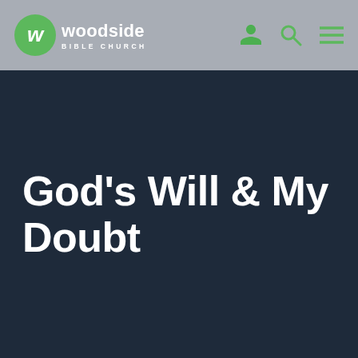[Figure (logo): Woodside Bible Church logo: green circle with white stylized W, followed by 'woodside' in bold white and 'BIBLE CHURCH' in small caps below]
God's Will & My Doubt